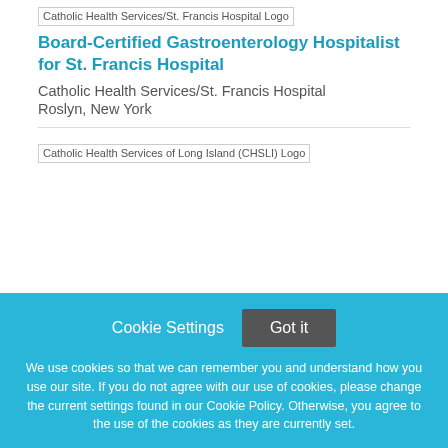[Figure (logo): Catholic Health Services/St. Francis Hospital Logo placeholder image]
Board-Certified Gastroenterology Hospitalist for St. Francis Hospital
Catholic Health Services/St. Francis Hospital
Roslyn, New York
[Figure (logo): Catholic Health Services of Long Island (CHSLI) Logo placeholder image]
Cookie Settings
Got it
We use cookies so that we can remember you and understand how you use our site. If you do not agree with our use of cookies, please change the current settings found in our Cookie Policy. Otherwise, you agree to the use of the cookies as they are currently set.